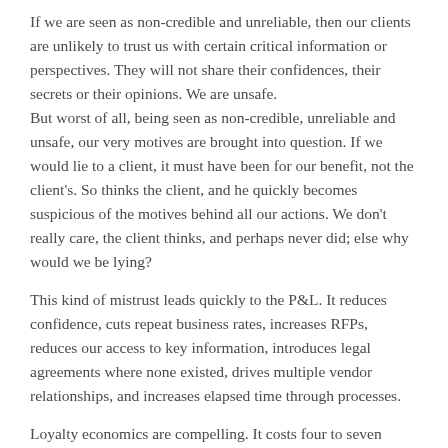If we are seen as non-credible and unreliable, then our clients are unlikely to trust us with certain critical information or perspectives. They will not share their confidences, their secrets or their opinions. We are unsafe. But worst of all, being seen as non-credible, unreliable and unsafe, our very motives are brought into question. If we would lie to a client, it must have been for our benefit, not the client's. So thinks the client, and he quickly becomes suspicious of the motives behind all our actions. We don't really care, the client thinks, and perhaps never did; else why would we be lying?
This kind of mistrust leads quickly to the P&L. It reduces confidence, cuts repeat business rates, increases RFPs, reduces our access to key information, introduces legal agreements where none existed, drives multiple vendor relationships, and increases elapsed time through processes.
Loyalty economics are compelling. It costs four to seven times as much to generate a dollar of income from a new client as it does from an existing client. But that's just repeat business. Trust produces the deepest, most sincere loyalty.
Add trust into the repeat business picture and the benefits